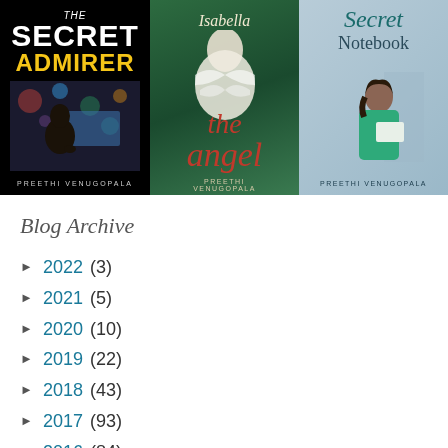[Figure (illustration): Three book covers by Preethi Venugopala displayed side by side: 'The Secret Admirer' (black cover with woman at computer), 'Isabella the Angel' (green cover with woman in white feathered outfit), and 'Secret Notebook' (blue cover with woman holding paper).]
Blog Archive
2022 (3)
2021 (5)
2020 (10)
2019 (22)
2018 (43)
2017 (93)
2016 (84)